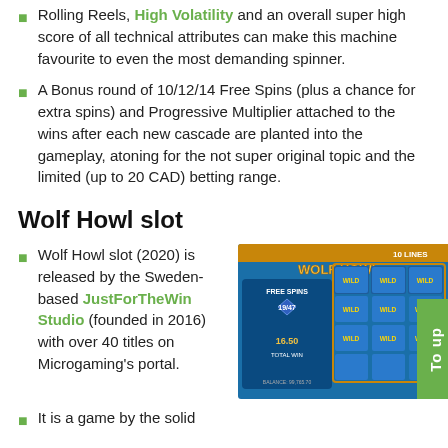Rolling Reels, High Volatility and an overall super high score of all technical attributes can make this machine favourite to even the most demanding spinner.
A Bonus round of 10/12/14 Free Spins (plus a chance for extra spins) and Progressive Multiplier attached to the wins after each new cascade are planted into the gameplay, atoning for the not super original topic and the limited (up to 20 CAD) betting range.
Wolf Howl slot
Wolf Howl slot (2020) is released by the Sweden-based JustForTheWin Studio (founded in 2016) with over 40 titles on Microgaming's portal.
[Figure (screenshot): Screenshot of Wolf Howl slot game showing WILD symbols on reels with FREE SPINS 19/47 and TOTAL WIN 16.50 displayed]
It is a game by the solid